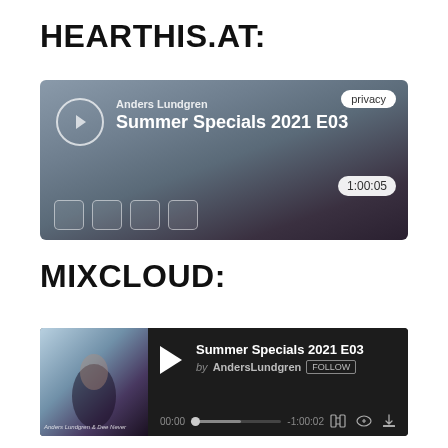HEARTHIS.AT:
[Figure (screenshot): HearThis.at audio player widget showing 'Summer Specials 2021 E03' by Anders Lundgren, with blurred dark background, play button circle, privacy button, duration 1:00:05, and four control buttons at bottom.]
MIXCLOUD:
[Figure (screenshot): Mixcloud player widget showing 'Summer Specials 2021 E03' by AndersLundgren with FOLLOW button, play button, progress bar showing 00:00 to -1:00:02, and control icons.]